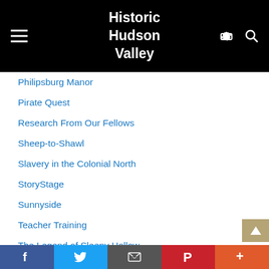Historic Hudson Valley
Philipsburg Manor
Pirate Quest
Research From Our Fellows
Sheep-to-Shawl
Slavery in the Colonial North
StoryStage
Sunnyside
Teacher Training
The Legend of Sleepy Hollow
The Rockefeller Legacy
The Unsilent Picture
Union Church of Pocantico Hills
Van Cortlandt Ma…